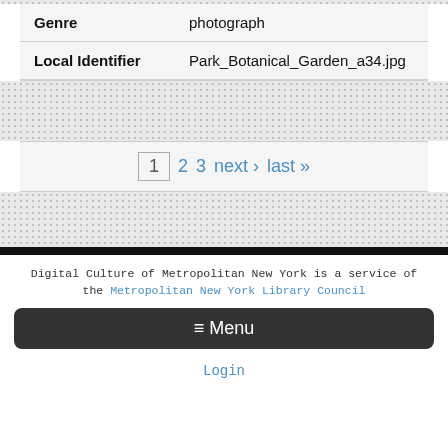|  |  |
| --- | --- |
| Genre | photograph |
| Local Identifier | Park_Botanical_Garden_a34.jpg |
Digital Culture of Metropolitan New York is a service of the Metropolitan New York Library Council
≡ Menu
Login